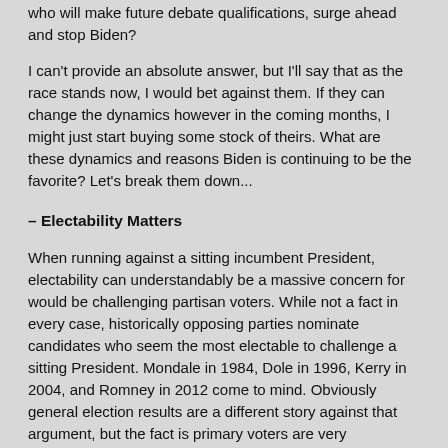who will make future debate qualifications, surge ahead and stop Biden?
I can't provide an absolute answer, but I'll say that as the race stands now, I would bet against them. If they can change the dynamics however in the coming months, I might just start buying some stock of theirs. What are these dynamics and reasons Biden is continuing to be the favorite? Let's break them down...
– Electability Matters
When running against a sitting incumbent President, electability can understandably be a massive concern for would be challenging partisan voters. While not a fact in every case, historically opposing parties nominate candidates who seem the most electable to challenge a sitting President. Mondale in 1984, Dole in 1996, Kerry in 2004, and Romney in 2012 come to mind. Obviously general election results are a different story against that argument, but the fact is primary voters are very concerned about it. But the voting demographics among the blue team that are most concerned about it? High turnout older and more moderate voters as well as African-Americans, absolute key voter blocs that are